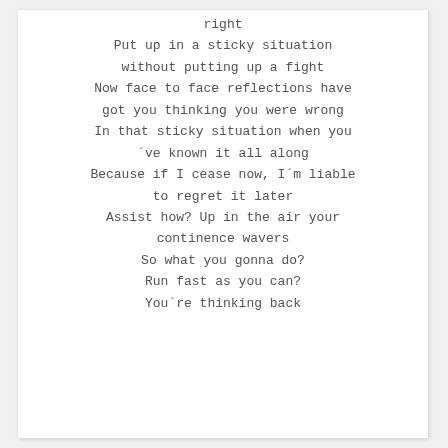right
Put up in a sticky situation
without putting up a fight
Now face to face reflections have
got you thinking you were wrong
In that sticky situation when you
´ve known it all along
Because if I cease now, I´m liable
to regret it later
Assist how? Up in the air your
continence wavers
So what you gonna do?
Run fast as you can?
You´re thinking back